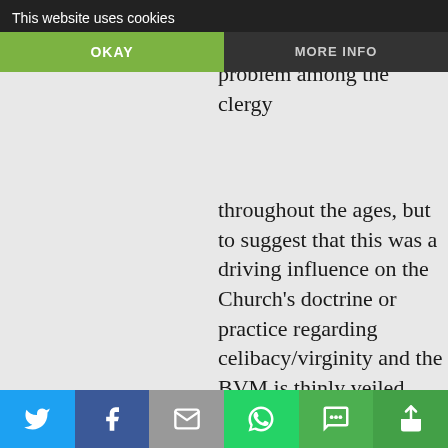This website uses cookies
OKAY
MORE INFO
certainly evidence that homosexuality has been a problem among the clergy throughout the ages, but to suggest that this was a driving influence on the Church's doctrine or practice regarding celibacy/virginity and the BVM is thinly veiled ecclesiastical ad hominem.

The Blessed Virgin Mary is not only a preeminent example of faith and chastity,
[Figure (screenshot): Social sharing bar with Twitter, Facebook, Email, WhatsApp, SMS, and Share icons]